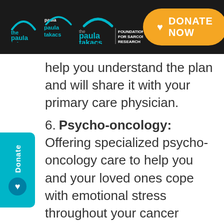Paula Takacs Foundation for Sarcoma Research — DONATE NOW
help you understand the plan and will share it with your primary care physician.
6. Psycho-oncology: Offering specialized psycho-oncology care to help you and your loved ones cope with emotional stress throughout your cancer journey. A team of experts – which includes psychiatrists, psychologists, psychotherapists and clinical social workers – will work with you to create a treatment plan that's tailored